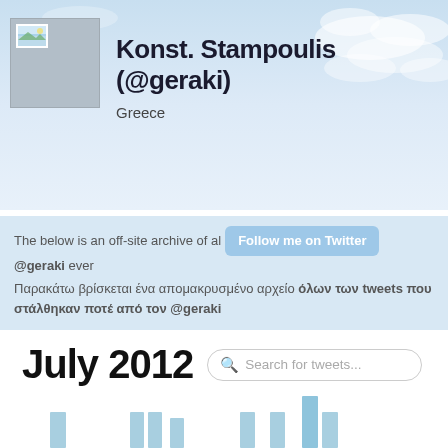Konst. Stampoulis (@geraki) — Greece
The below is an off-site archive of all tweets @geraki ever
Παρακάτω βρίσκεται ένα απομακρυσμένο αρχείο όλων των tweets που στάλθηκαν ποτέ από τον @geraki
July 2012
[Figure (bar-chart): Bar chart showing tweet frequency across days in July 2012. Multiple bars of varying heights in light blue color, with one tall bar standing significantly higher than the others on the right side of the chart.]